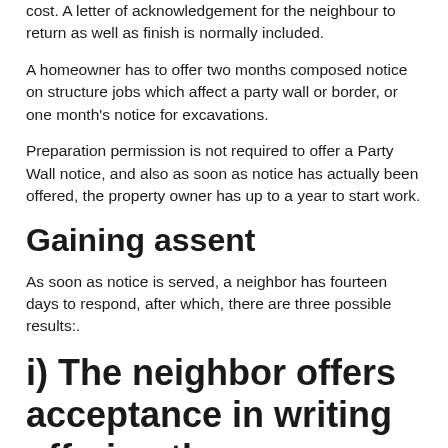cost. A letter of acknowledgement for the neighbour to return as well as finish is normally included.
A homeowner has to offer two months composed notice on structure jobs which affect a party wall or border, or one month's notice for excavations.
Preparation permission is not required to offer a Party Wall notice, and also as soon as notice has actually been offered, the property owner has up to a year to start work.
Gaining assent
As soon as notice is served, a neighbor has fourteen days to respond, after which, there are three possible results:.
i) The neighbor offers acceptance in writing offering the homeowner will rectify any type of problems.